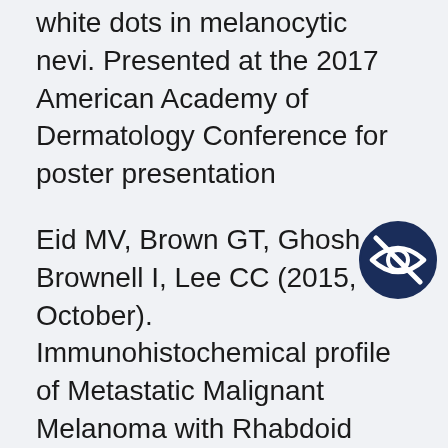white dots in melanocytic nevi. Presented at the 2017 American Academy of Dermatology Conference for poster presentation
Eid MV, Brown GT, Ghosh A, Brownell I, Lee CC (2015, October). Immunohistochemical profile of Metastatic Malignant Melanoma with Rhabdoid Features. Presented at 2015 ASDP Annual Meeting for poster presentation
Eid MV, Pratt D, Curtis L, Pavletic S, Quezado M (@015, October). Cardiac predilection of metastatic malignant melanoma: A case report of incidental